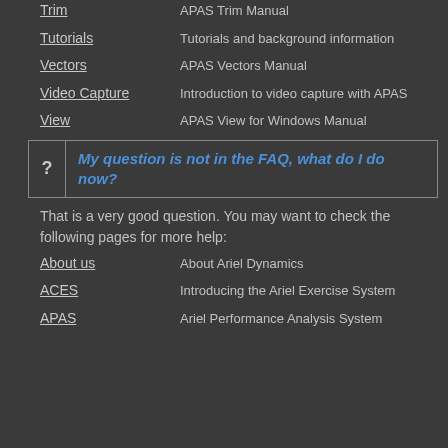Trim — APAS Trim Manual
Tutorials — Tutorials and background information
Vectors — APAS Vectors Manual
Video Capture — Introduction to video capture with APAS
View — APAS View for Windows Manual
My question is not in the FAQ, what do I do now?
That is a very good question. You may want to check the following pages for more help:
About us — About Ariel Dynamics
ACES — Introducing the Ariel Exercise System
APAS — Ariel Performance Analysis System